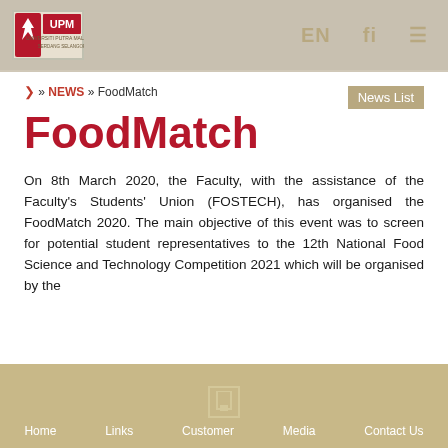UPM — EN  fi  [icon]
❱ » NEWS » FoodMatch
News List
FoodMatch
On 8th March 2020, the Faculty, with the assistance of the Faculty's Students' Union (FOSTECH), has organised the FoodMatch 2020. The main objective of this event was to screen for potential student representatives to the 12th National Food Science and Technology Competition 2021 which will be organised by the
Home  Links  Customer  Media  Contact Us